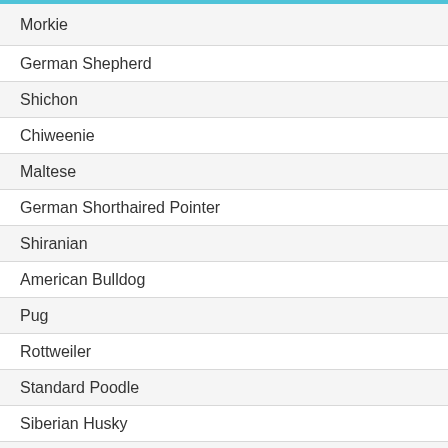Morkie
German Shepherd
Shichon
Chiweenie
Maltese
German Shorthaired Pointer
Shiranian
American Bulldog
Pug
Rottweiler
Standard Poodle
Siberian Husky
Akbash Dog
Silky Terrier